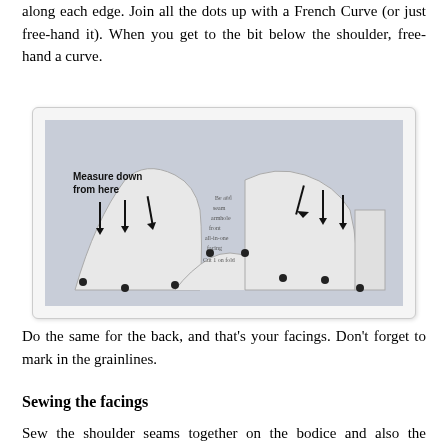along each edge.  Join all the dots up with a French Curve (or just free-hand it).   When you get to the bit below the shoulder, free-hand a curve.
[Figure (photo): Photograph of sewing pattern pieces laid out, showing arrows pointing downward from text 'Measure down from here' with dots marked along edges of curved fabric pattern pieces. Handwritten notes visible in center of image.]
Do the same for the back, and that's your facings.  Don't forget to mark in the grainlines.
Sewing the facings
Sew the shoulder seams together on the bodice and also the facings. The facings will look something like this: